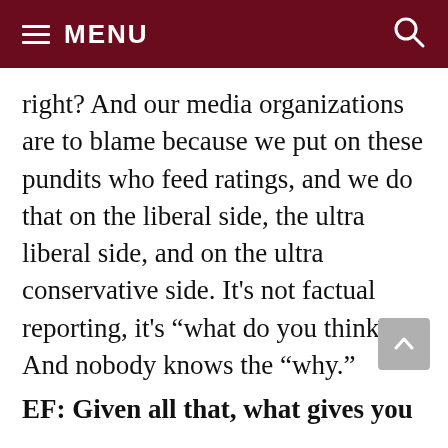MENU
right? And our media organizations are to blame because we put on these pundits who feed ratings, and we do that on the liberal side, the ultra liberal side, and on the ultra conservative side. It’s not factual reporting, it’s “what do you think.” And nobody knows the “why.”
EF: Given all that, what gives you